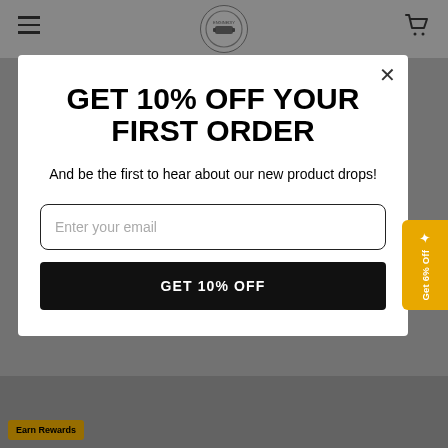[Figure (screenshot): E-commerce website popup modal with 10% off offer on dark overlay background, with header navigation showing hamburger menu, logo, and cart icon. Bottom strip shows product images and Earn Rewards badge. Right side shows Get 6% Off reward badge.]
GET 10% OFF YOUR FIRST ORDER
And be the first to hear about our new product drops!
Enter your email
GET 10% OFF
Earn Rewards
Get 6% Off